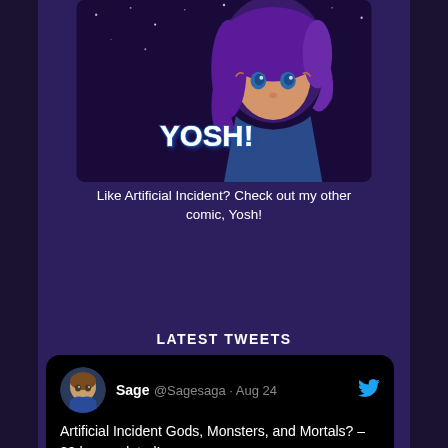[Figure (illustration): Anime-style illustration banner for 'Yosh!' webcomic featuring a purple-haired anime girl character with blue eyes against a starry background, with 'YOSH!' text logo]
Like Artificial Incident? Check out my other comic, Yosh!
LATEST TWEETS
Sage @Sagesaga · Aug 24
Artificial Incident Gods, Monsters, and Mortals? – 20 has updated! -
artificialincident.com/comic/gods-mon…
#webcomic #PleaseRT